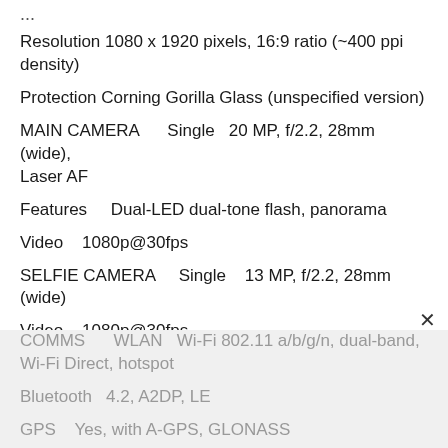...
Resolution 1080 x 1920 pixels, 16:9 ratio (~400 ppi density)
Protection Corning Gorilla Glass (unspecified version)
MAIN CAMERA   Single  20 MP, f/2.2, 28mm (wide), Laser AF
Features   Dual-LED dual-tone flash, panorama
Video  1080p@30fps
SELFIE CAMERA   Single  13 MP, f/2.2, 28mm (wide)
Video  1080p@30fps
SOUND   Loudspeaker  Yes, dual mono speakers
3.5mm jack   Yes
COMMS   WLAN  Wi-Fi 802.11 a/b/g/n, dual-band, Wi-Fi Direct, hotspot
Bluetooth  4.2, A2DP, LE
GPS  Yes, with A-GPS, GLONASS